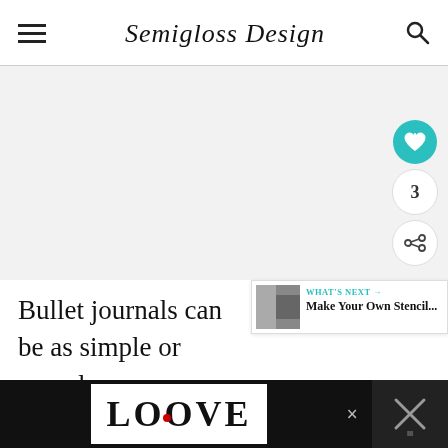Semigloss Design
[Figure (screenshot): Light gray content/image area placeholder]
Bullet journals can be as simple or complex as you are. They can be used for anything that you can think of. The
[Figure (infographic): WHAT'S NEXT overlay with thumbnail and text: Make Your Own Stencil...]
[Figure (screenshot): Bottom advertisement banner showing LOOVE text art logo with close button]